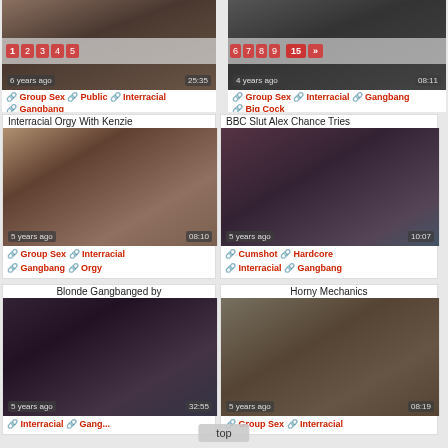[Figure (screenshot): Video thumbnail grid page showing adult video website with pagination, video thumbnails with timestamps and tags]
Group Sex | Public | Interracial | Gangbang
Group Sex | Interracial | Gangbang | Big Cock
Interracial Orgy With Kenzie
[Figure (screenshot): Video thumbnail 5 years ago 08:10]
Group Sex | Interracial | Gangbang | Orgy
BBC Slut Alex Chance Tries
[Figure (screenshot): Video thumbnail 5 years ago 10:07]
Cumshot | Hardcore | Interracial | Gangbang
Blonde Gangbanged by
[Figure (screenshot): Video thumbnail 5 years ago 32:55]
Interracial | Gangbang | Bl...
Horny Mechanics
[Figure (screenshot): Video thumbnail 5 years ago 08:19]
Group Sex | Interracial | Gangbang